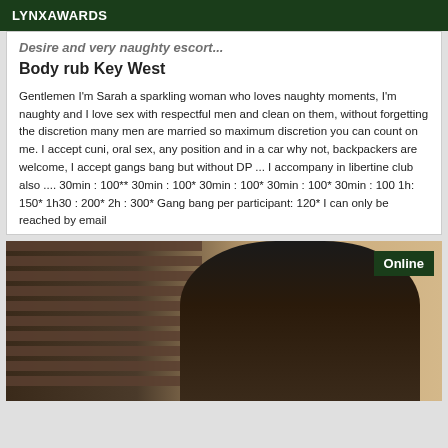LYNXAWARDS
Body rub Key West
Gentlemen I'm Sarah a sparkling woman who loves naughty moments, I'm naughty and I love sex with respectful men and clean on them, without forgetting the discretion many men are married so maximum discretion you can count on me. I accept cuni, oral sex, any position and in a car why not, backpackers are welcome, I accept gangs bang but without DP ... I accompany in libertine club also .... 30min : 100** 30min : 100* 30min : 100* 30min : 100* 30min : 100 1h: 150* 1h30 : 200* 2h : 300* Gang bang per participant: 120* I can only be reached by email
[Figure (photo): Photo of a dark-haired woman with an Online badge overlay in the top right corner]